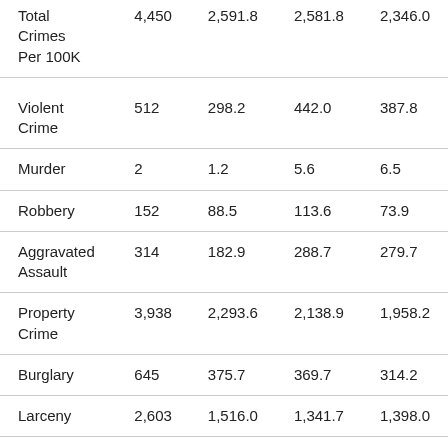| Crime Type | Count | Rate A | Rate B | Rate C |
| --- | --- | --- | --- | --- |
| Total Crimes Per 100K | 4,450 | 2,591.8 | 2,581.8 | 2,346.0 |
| Violent Crime | 512 | 298.2 | 442.0 | 387.8 |
| Murder | 2 | 1.2 | 5.6 | 6.5 |
| Robbery | 152 | 88.5 | 113.6 | 73.9 |
| Aggravated Assault | 314 | 182.9 | 288.7 | 279.7 |
| Property Crime | 3,938 | 2,293.6 | 2,138.9 | 1,958.2 |
| Burglary | 645 | 375.7 | 369.7 | 314.2 |
| Larceny | 2,603 | 1,516.0 | 1,341.7 | 1,398.0 |
| Car Theft | 690 | 401.9 | 427.6 | 246.0 |